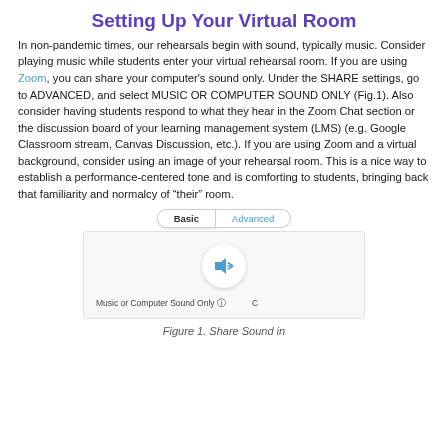Setting Up Your Virtual Room
In non-pandemic times, our rehearsals begin with sound, typically music. Consider playing music while students enter your virtual rehearsal room. If you are using Zoom, you can share your computer's sound only. Under the SHARE settings, go to ADVANCED, and select MUSIC OR COMPUTER SOUND ONLY (Fig.1). Also consider having students respond to what they hear in the Zoom Chat section or the discussion board of your learning management system (LMS) (e.g. Google Classroom stream, Canvas Discussion, etc.). If you are using Zoom and a virtual background, consider using an image of your rehearsal room. This is a nice way to establish a performance-centered tone and is comforting to students, bringing back that familiarity and normalcy of “their” room.
[Figure (screenshot): Zoom Share screen dialog showing Basic and Advanced tabs, with a speaker icon in a circle representing the 'Music or Computer Sound Only' option. The Advanced tab is highlighted in blue.]
Figure 1. Share Sound in Zoom